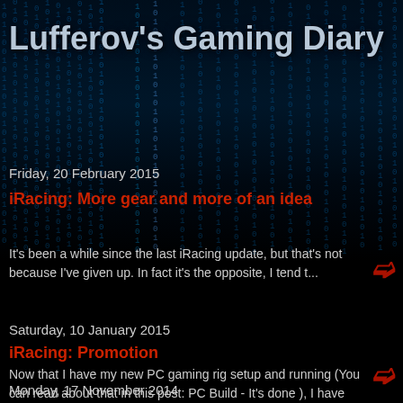Lufferov's Gaming Diary
Friday, 20 February 2015
iRacing: More gear and more of an idea
It's been a while since the last iRacing update, but that's not because I've given up. In fact it's the opposite, I tend t...
Saturday, 10 January 2015
iRacing: Promotion
Now that I have my new PC gaming rig setup and running (You can read about that in this post: PC Build - It's done ), I have been able...
Monday, 17 November 2014